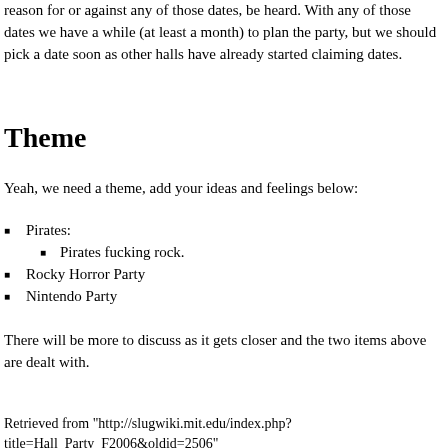reason for or against any of those dates, be heard. With any of those dates we have a while (at least a month) to plan the party, but we should pick a date soon as other halls have already started claiming dates.
Theme
Yeah, we need a theme, add your ideas and feelings below:
Pirates:
Pirates fucking rock.
Rocky Horror Party
Nintendo Party
There will be more to discuss as it gets closer and the two items above are dealt with.
Retrieved from "http://slugwiki.mit.edu/index.php?title=Hall_Party_F2006&oldid=2506"